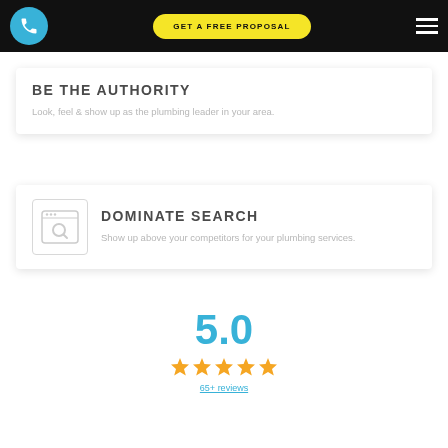GET A FREE PROPOSAL
BE THE AUTHORITY
Look, feel & show up as the plumbing leader in your area.
[Figure (illustration): Browser/search window icon with magnifying glass]
DOMINATE SEARCH
Show up above your competitors for your plumbing services.
5.0
[Figure (infographic): Five gold star rating icons]
65+ reviews